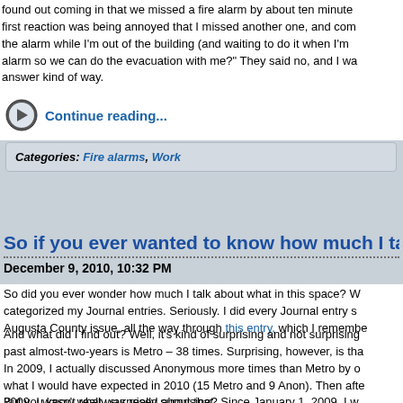found out coming in that we missed a fire alarm by about ten minutes. first reaction was being annoyed that I missed another one, and com the alarm while I'm out of the building (and waiting to do it when I'm alarm so we can do the evacuation with me?" They said no, and I wa answer kind of way.
Continue reading...
Categories: Fire alarms, Work
So if you ever wanted to know how much I talk
December 9, 2010, 10:32 PM
So did you ever wonder how much I talk about what in this space? W categorized my Journal entries. Seriously. I did every Journal entry s Augusta County issue, all the way through this entry, which I remembe
And what did I find out? Well, it's kind of surprising and not surprising past almost-two-years is Metro – 38 times. Surprising, however, is tha In 2009, I actually discussed Anonymous more times than Metro by o what I would have expected in 2010 (15 Metro and 9 Anon). Then afte 2009. I wasn't really surprised about that.
But you know what was really surprising? Since January 1, 2009, I w fifth most often overall. I guess that's what happens when nature dum we're all trapped in our houses for days at a time. I racked up mo February 2010, that's just about all I talked about.